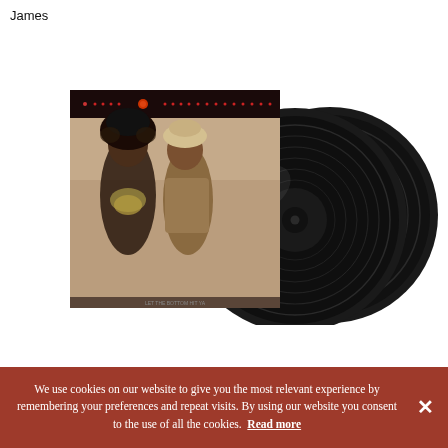James
[Figure (photo): Album cover and two vinyl records. The album cover shows two artists (one wearing elaborate jewelry and a large fur hat, the other in a tan jacket and a light-colored hat) against a muted background, with a dark red decorative band at the top. Two large black vinyl records are visible to the right and behind the album cover.]
We use cookies on our website to give you the most relevant experience by remembering your preferences and repeat visits. By using our website you consent to the use of all the cookies. Read more